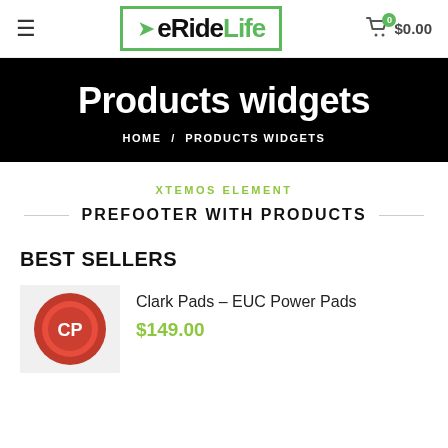eRideLife — $0.00
Products widgets
HOME / PRODUCTS WIDGETS
XTEMOS ELEMENT
PREFOOTER WITH PRODUCTS
BEST SELLERS
[Figure (logo): Clark Pads EUC Power Pads product thumbnail — red circular logo with CP letters]
Clark Pads – EUC Power Pads
$149.00